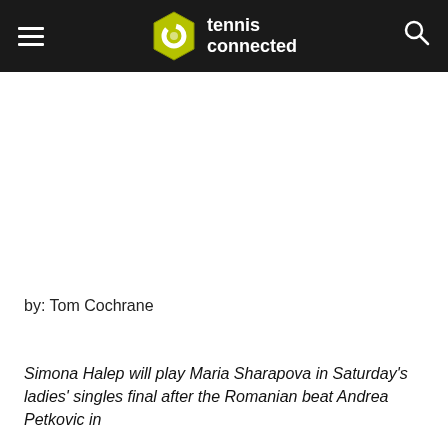tennis connected
by: Tom Cochrane
Simona Halep will play Maria Sharapova in Saturday's ladies' singles final after the Romanian beat Andrea Petkovic in